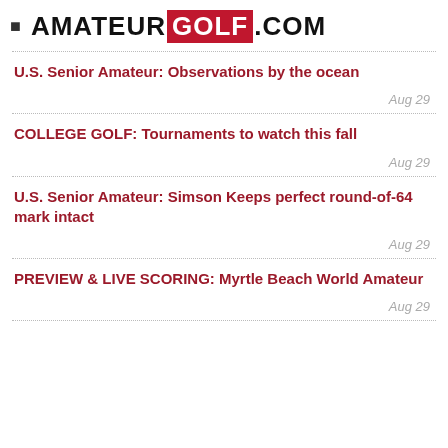AMATEURGOLF.COM
U.S. Senior Amateur: Observations by the ocean
Aug 29
COLLEGE GOLF: Tournaments to watch this fall
Aug 29
U.S. Senior Amateur: Simson Keeps perfect round-of-64 mark intact
Aug 29
PREVIEW & LIVE SCORING: Myrtle Beach World Amateur
Aug 29